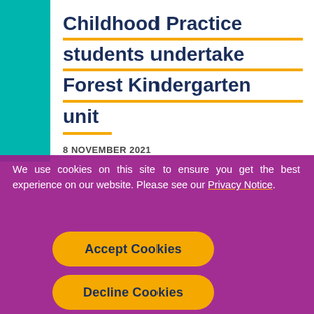Childhood Practice students undertake Forest Kindergarten unit
8 NOVEMBER 2021
We use cookies on this site to ensure you get the best experience on our website. Please see our Privacy Notice.
how to plan, prepare, set up and lead play-based outdoor learning experiences.
Accept Cookies
Decline Cookies